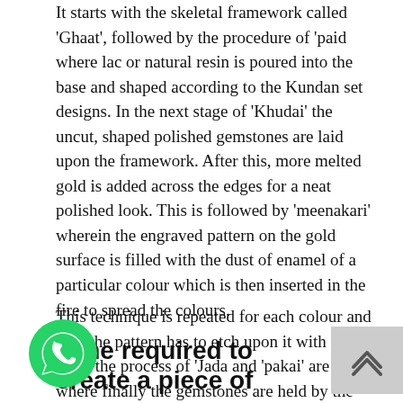It starts with the skeletal framework called 'Ghaat', followed by the procedure of 'paid where lac or natural resin is poured into the base and shaped according to the Kundan set designs. In the next stage of 'Khudai' the uncut, shaped polished gemstones are laid upon the framework. After this, more melted gold is added across the edges for a neat polished look. This is followed by 'meenakari' wherein the engraved pattern on the gold surface is filled with the dust of enamel of a particular colour which is then inserted in the fire to spread the colours.
This technique is repeated for each colour and then the pattern has to etch upon it with ivory. Then the process of 'Jada and 'pakai' are done where finally the gemstones are held by the gold foils to make them more firm. At last, the final stage is 'Chillai' where the gemstones are properly polished.
[Figure (logo): WhatsApp logo - green circle with white phone handset icon]
Time required to create a piece of